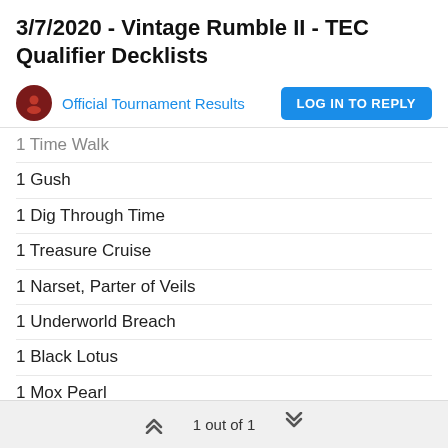3/7/2020 - Vintage Rumble II - TEC Qualifier Decklists
Official Tournament Results
1 Time Walk (partial, cut off)
1 Gush
1 Dig Through Time
1 Treasure Cruise
1 Narset, Parter of Veils
1 Underworld Breach
1 Black Lotus
1 Mox Pearl
1 Mox Ruby
1 Mox Sapphire
4 Scalding Tarn
2 Flooded Strand
2 Polluted Delta
1 Misty Rainforest (partial, cut off)
1 out of 1